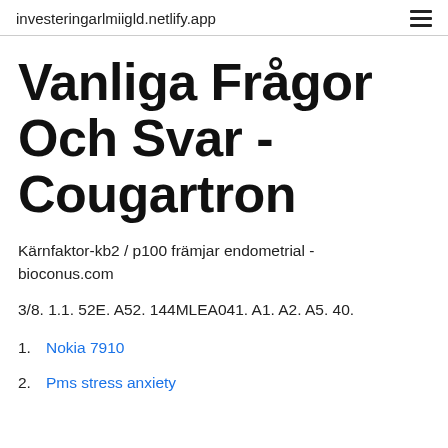investeringarlmiigld.netlify.app
Vanliga Frågor Och Svar - Cougartron
Kärnfaktor-kb2 / p100 främjar endometrial - bioconus.com
3/8. 1.1. 52E. A52. 144MLEA041. A1. A2. A5. 40.
Nokia 7910
Pms stress anxiety